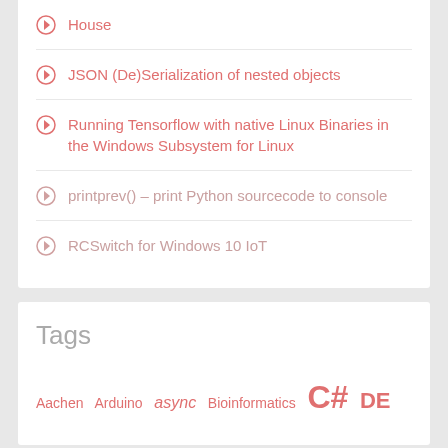House
JSON (De)Serialization of nested objects
Running Tensorflow with native Linux Binaries in the Windows Subsystem for Linux
printprev() – print Python sourcecode to console
RCSwitch for Windows 10 IoT
Tags
Aachen Arduino async Bioinformatics C# DE